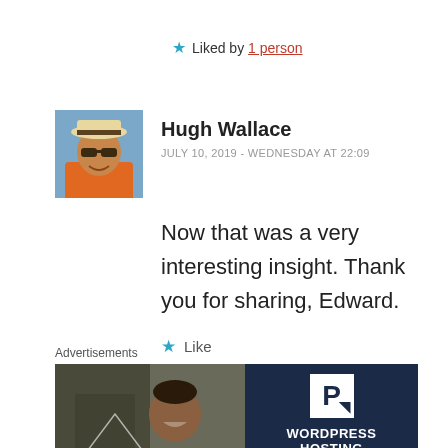★ Liked by 1 person
Hugh Wallace
JULY 10, 2019 - WEDNESDAY AT 22:09
Now that was a very interesting insight. Thank you for sharing, Edward.
★ Like
Advertisements
[Figure (photo): WordPress Hosting advertisement banner with photo of smiling person and WordPress P logo on dark navy background]